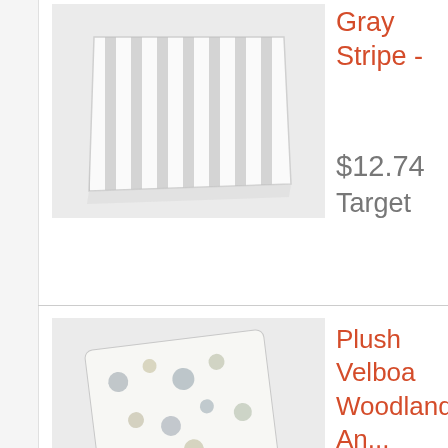[Figure (photo): Gray striped baby blanket/swaddle]
Gray Stripe -
$12.74
Target
[Figure (photo): Plush velboa baby blanket with woodland animals pattern]
Plush Velboa Woodland An... Island™ Gra
$14.99
Target
[Figure (photo): Baby elephant hooded towel - Cloud Island]
Baby Elepha... - Cloud Islan